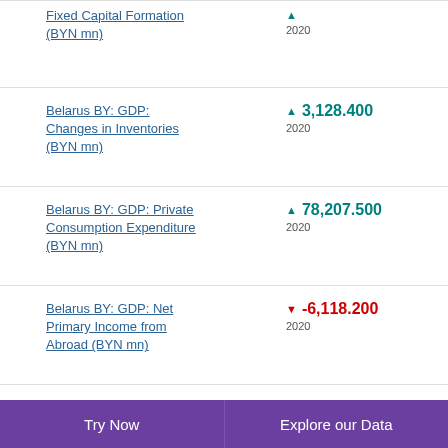Fixed Capital Formation (BYN mn)
Belarus BY: GDP: Changes in Inventories (BYN mn)
Belarus BY: GDP: Private Consumption Expenditure (BYN mn)
Belarus BY: GDP: Net Primary Income from Abroad (BYN mn)
Belarus BY: GDP: Imports (BYN mn)
Try Now   Explore our Data